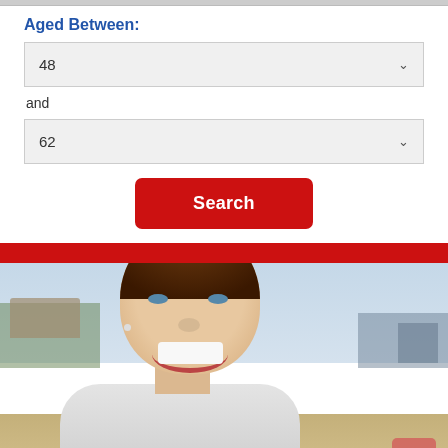Aged Between:
48
and
62
Search
[Figure (photo): Smiling middle-aged woman with short brown hair outdoors, blurred background with buildings and sky]